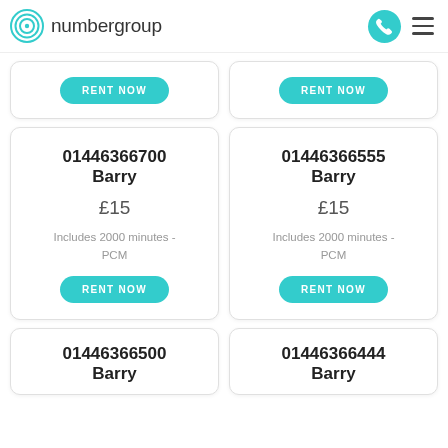numbergroup
RENT NOW
RENT NOW
01446366700
Barry
£15
Includes 2000 minutes - PCM
RENT NOW
01446366555
Barry
£15
Includes 2000 minutes - PCM
RENT NOW
01446366500
Barry
01446366444
Barry